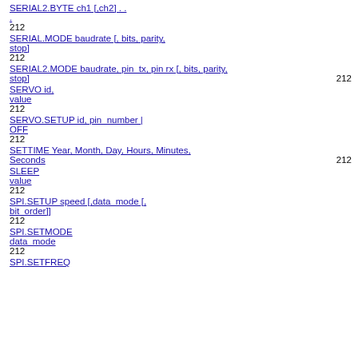SERIAL2.BYTE ch1 [,ch2] . .
.
212
SERIAL.MODE baudrate [, bits, parity, stop]
212
SERIAL2.MODE baudrate, pin_tx, pin rx  [, bits, parity, stop]    212
SERVO id,
value
212
SERVO.SETUP id, pin_number |
OFF
212
SETTIME Year, Month, Day, Hours, Minutes,
Seconds                                              212
SLEEP
value
212
SPI.SETUP speed [,data_mode [,
bit_order]]
212
SPI.SETMODE
data_mode
212
SPI.SETFREQ